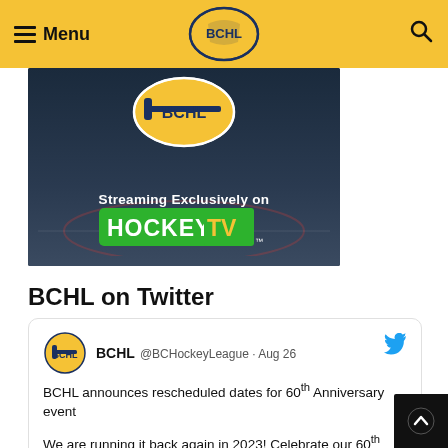Menu | BCHL | Search
[Figure (screenshot): BCHL logo with 'Streaming Exclusively on HockeyTV' banner on dark hockey rink background]
BCHL on Twitter
BCHL @BCHockeyLeague · Aug 26
BCHL announces rescheduled dates for 60th Anniversary event

We are running it back again in 2023! Celebrate our 60th Anniversary with us (in our 61st season) from Jan. 20 to 22 in Penticton with our outdoor all-star event and Top